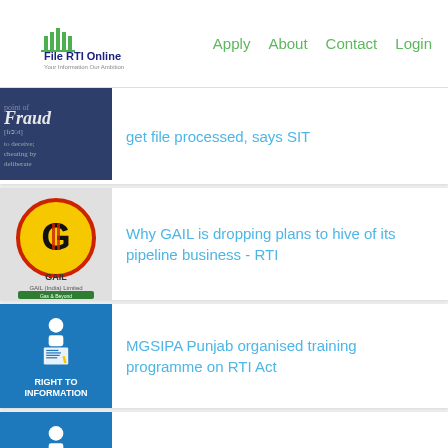File RTI Online — Apply  About  Contact  Login
get file processed, says SIT
Why GAIL is dropping plans to hive of its pipeline business - RTI
MGSIPA Punjab organised training programme on RTI Act
Notice to cop for not giving information under RTI Act